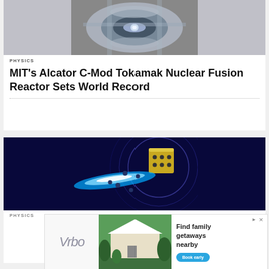[Figure (photo): Interior of MIT Alcator C-Mod Tokamak fusion reactor, showing circular metallic chamber components]
PHYSICS
MIT's Alcator C-Mod Tokamak Nuclear Fusion Reactor Sets World Record
[Figure (illustration): Scientific illustration on dark blue background showing particle beam emission from a yellow/gold cube-like object with circular wave patterns]
PHYSICS
[Figure (photo): Vrbo advertisement showing a beach house with text 'Find family getaways nearby' and 'Book early' button]